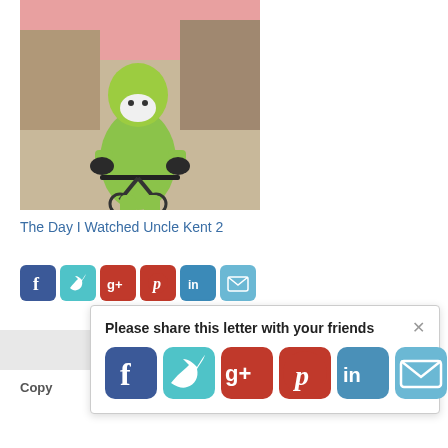[Figure (photo): Person in bright yellow-green hazmat or costume suit riding a small bicycle on a street]
The Day I Watched Uncle Kent 2
[Figure (infographic): Row of small social share buttons: Facebook (blue), Twitter (teal), Google+ (red), Pinterest (red), LinkedIn (blue), Email (light blue)]
[Figure (infographic): Popup overlay with text 'Please share this letter with your friends' and large social share buttons: Facebook, Twitter, Google+, Pinterest, LinkedIn, Email, with an X close button]